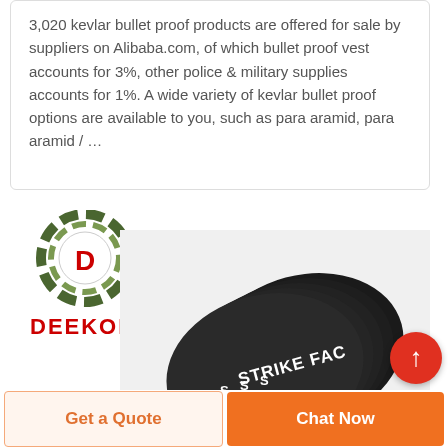3,020 kevlar bullet proof products are offered for sale by suppliers on Alibaba.com, of which bullet proof vest accounts for 3%, other police & military supplies accounts for 1%. A wide variety of kevlar bullet proof options are available to you, such as para aramid, para aramid / …
[Figure (logo): DEEKON brand logo — circular camouflage target ring with red D in center, text DEEKON in bold red below]
[Figure (photo): Stack of black body armor strike face plates with white text 'STRIKE FACE' visible on the edges]
Get a Quote
Chat Now